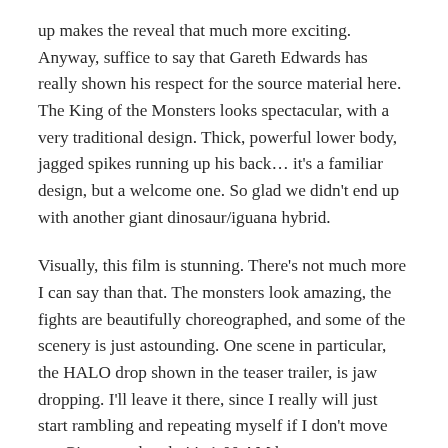up makes the reveal that much more exciting. Anyway, suffice to say that Gareth Edwards has really shown his respect for the source material here. The King of the Monsters looks spectacular, with a very traditional design. Thick, powerful lower body, jagged spikes running up his back… it's a familiar design, but a welcome one. So glad we didn't end up with another giant dinosaur/iguana hybrid.
Visually, this film is stunning. There's not much more I can say than that. The monsters look amazing, the fights are beautifully choreographed, and some of the scenery is just astounding. One scene in particular, the HALO drop shown in the teaser trailer, is jaw dropping. I'll leave it there, since I really will just start rambling and repeating myself if I don't move on. Give me a break, it's 1:00 AM here.
So, problems with the film? I didn't really have any